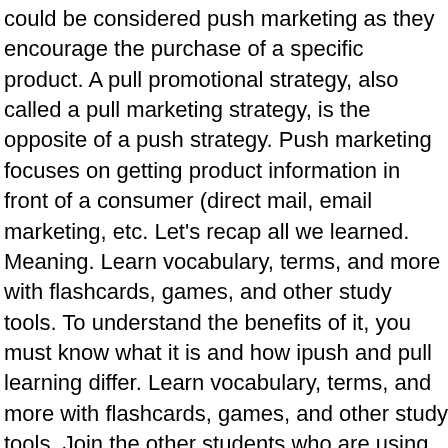could be considered push marketing as they encourage the purchase of a specific product. A pull promotional strategy, also called a pull marketing strategy, is the opposite of a push strategy. Push marketing focuses on getting product information in front of a consumer (direct mail, email marketing, etc. Let's recap all we learned. Meaning. Learn vocabulary, terms, and more with flashcards, games, and other study tools. To understand the benefits of it, you must know what it is and how ipush and pull learning differ. Learn vocabulary, terms, and more with flashcards, games, and other study tools. Join the other students who are using our most popular study sets to master what they are learning. While the R.L. They show how successful pull marketing can be … Where you live has no fresh or clean water. The main difference between push marketing and pull marketing is explained below: 1. You might even be breaking the law if you send particularly aggressive or misleading push marketing emails.. Email as pull marketing. Often unpleasant or life threatening situations that